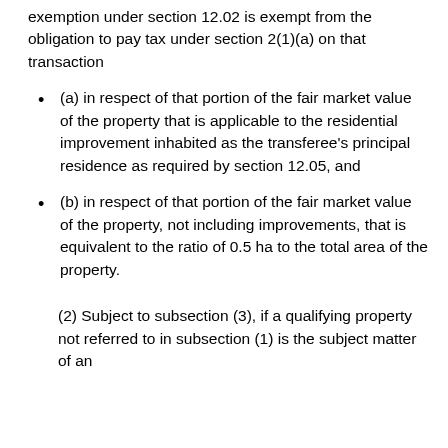exemption under section 12.02 is exempt from the obligation to pay tax under section 2(1)(a) on that transaction
(a) in respect of that portion of the fair market value of the property that is applicable to the residential improvement inhabited as the transferee's principal residence as required by section 12.05, and
(b) in respect of that portion of the fair market value of the property, not including improvements, that is equivalent to the ratio of 0.5 ha to the total area of the property.
(2) Subject to subsection (3), if a qualifying property not referred to in subsection (1) is the subject matter of an